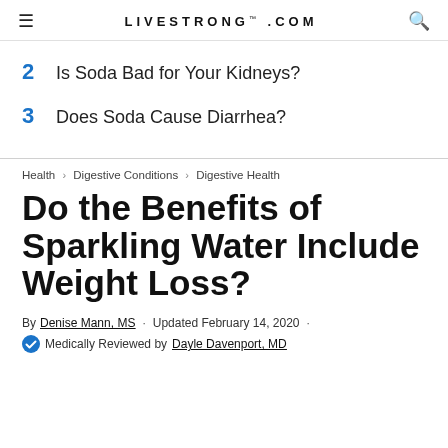LIVESTRONG.COM
2  Is Soda Bad for Your Kidneys?
3  Does Soda Cause Diarrhea?
Health › Digestive Conditions › Digestive Health
Do the Benefits of Sparkling Water Include Weight Loss?
By Denise Mann, MS · Updated February 14, 2020 ·
Medically Reviewed by Dayle Davenport, MD